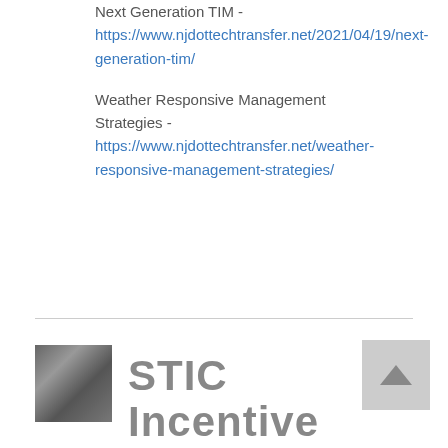Next Generation TIM - https://www.njdottechtransfer.net/2021/04/19/next-generation-tim/
Weather Responsive Management Strategies - https://www.njdottechtransfer.net/weather-responsive-management-strategies/
STIC Incentive